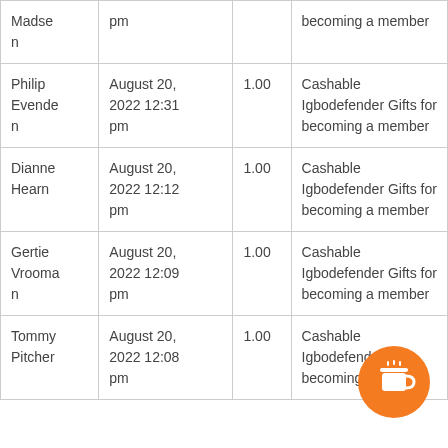| Madsen | pm |  | becoming a member |
| Philip Evenden | August 20, 2022 12:31 pm | 1.00 | Cashable Igbodefender Gifts for becoming a member |
| Dianne Hearn | August 20, 2022 12:12 pm | 1.00 | Cashable Igbodefender Gifts for becoming a member |
| Gertie Vrooman | August 20, 2022 12:09 pm | 1.00 | Cashable Igbodefender Gifts for becoming a member |
| Tommy Pitcher | August 20, 2022 12:08 pm | 1.00 | Cashable Igbodefender Gifts for becoming a member |